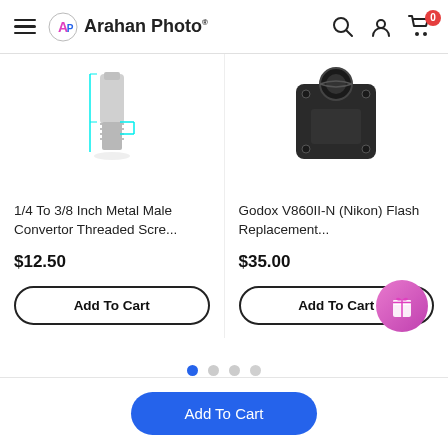Arahan Photo
[Figure (photo): 1/4 To 3/8 Inch Metal Male Convertor Threaded Screw product photo showing a metal screw adapter with measurement arrows]
1/4 To 3/8 Inch Metal Male Convertor Threaded Scre...
$12.50
Add To Cart
[Figure (photo): Godox V860II-N (Nikon) Flash Replacement product photo showing a black flash battery grip accessory]
Godox V860II-N (Nikon) Flash Replacement...
$35.00
Add To Cart
Add To Cart